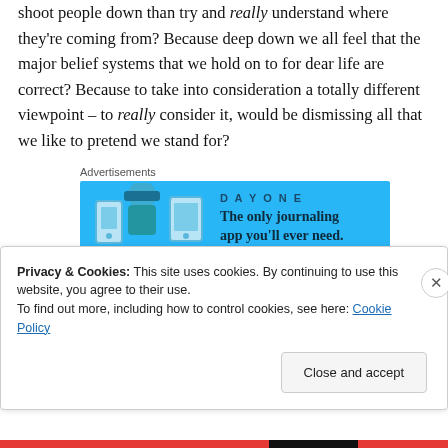shoot people down than try and really understand where they're coming from? Because deep down we all feel that the major belief systems that we hold on to for dear life are correct? Because to take into consideration a totally different viewpoint – to really consider it, would be dismissing all that we like to pretend we stand for?
[Figure (infographic): Advertisement banner for Day One journaling app with blue background, app icons, and tagline 'The only journaling app you'll ever need.']
Why? This one is hard for me, because I just can't comprehend it. Why does a smart man like Michael Moore
Privacy & Cookies: This site uses cookies. By continuing to use this website, you agree to their use.
To find out more, including how to control cookies, see here: Cookie Policy
Close and accept